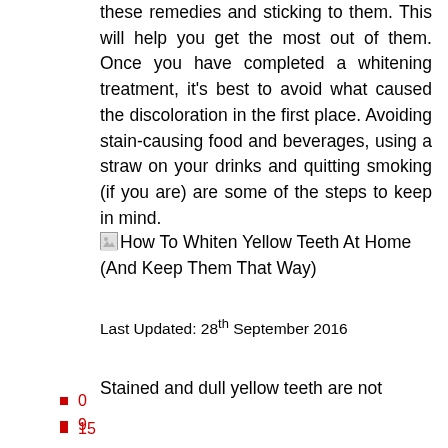these remedies and sticking to them. This will help you get the most out of them. Once you have completed a whitening treatment, it's best to avoid what caused the discoloration in the first place. Avoiding stain-causing food and beverages, using a straw on your drinks and quitting smoking (if you are) are some of the steps to keep in mind.
[Figure (other): Small broken image icon followed by title text: How To Whiten Yellow Teeth At Home (And Keep Them That Way)]
Last Updated: 28th September 2016
Stained and dull yellow teeth are not
0
9
15
28